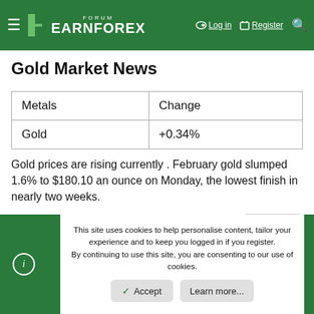FORUM EARNFOREX | Log in | Register
Gold Market News
| Metals | Change |
| --- | --- |
| Gold | +0.34% |
Gold prices are rising currently . February gold slumped 1.6% to $180.10 an ounce on Monday, the lowest finish in nearly two weeks.
Reply
This site uses cookies to help personalise content, tailor your experience and to keep you logged in if you register. By continuing to use this site, you are consenting to our use of cookies.